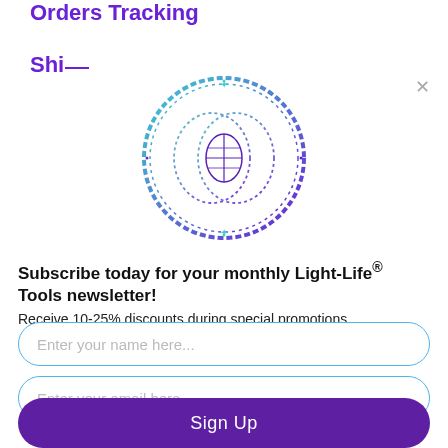Orders Tracking
Shi...
[Figure (logo): Light-Life Tools circular logo with two overlapping rings and a globe/eye symbol in the center, purple and teal gradient, decorative rope border]
Subscribe today for your monthly Light-Life® Tools newsletter! Receive 10-25% discounts during special promotions
Enter your name here...
Enter your email here...
Sign Up